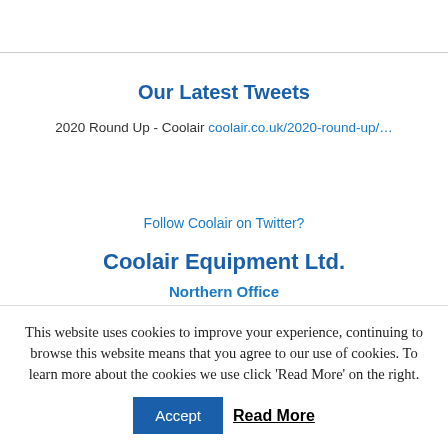Our Latest Tweets
2020 Round Up - Coolair coolair.co.uk/2020-round-up/…
Follow Coolair on Twitter?
Coolair Equipment Ltd.
Northern Office
Coolair House
This website uses cookies to improve your experience, continuing to browse this website means that you agree to our use of cookies. To learn more about the cookies we use click 'Read More' on the right.
Accept
Read More